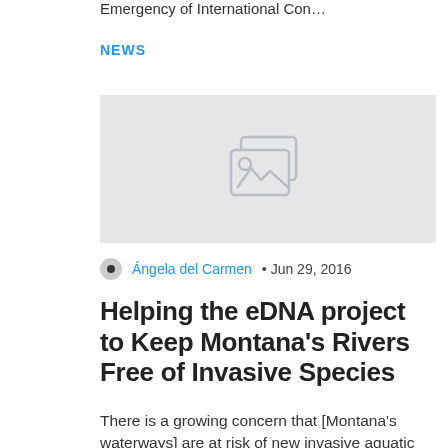Emergency of International Con…
NEWS
[Figure (photo): Image placeholder with a photo icon indicating a missing or unavailable image.]
Ángela del Carmen • Jun 29, 2016
Helping the eDNA project to Keep Montana's Rivers Free of Invasive Species
There is a growing concern that [Montana's waterways] are at risk of new invasive aquatic